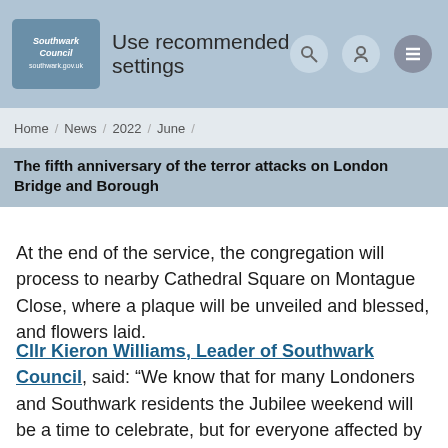Use recommended settings
Home / News / 2022 / June /
The fifth anniversary of the terror attacks on London Bridge and Borough
At the end of the service, the congregation will process to nearby Cathedral Square on Montague Close, where a plaque will be unveiled and blessed, and flowers laid.
Cllr Kieron Williams, Leader of Southwark Council, said: “We know that for many Londoners and Southwark residents the Jubilee weekend will be a time to celebrate, but for everyone affected by the events of 3 June 2017, Friday will be a day of sadness and reflection. So much has happened in the last 5 years but the tragic events of that night remain clear in the minds of everyone who